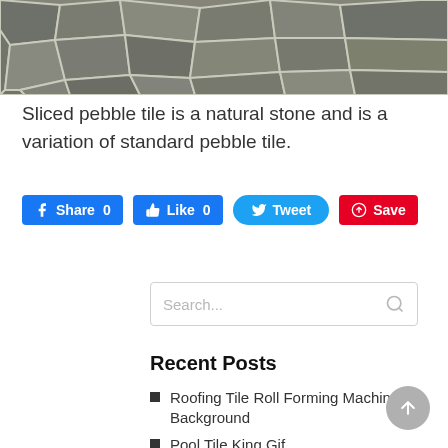[Figure (photo): Aerial view of irregular slate or pebble stone tiles with grey and brown tones, mortared together in a natural stone pattern]
Sliced pebble tile is a natural stone and is a variation of standard pebble tile.
[Figure (infographic): Social sharing buttons: Facebook Share 0, Like 0, Twitter Tweet, Pinterest Save]
[Figure (screenshot): Search input box with placeholder text 'Search...' and a magnifying glass icon]
Recent Posts
Roofing Tile Roll Forming Machine Background
Pool Tile King Gif
National Tile Day PNG
Shower Room Tile Kits Gif